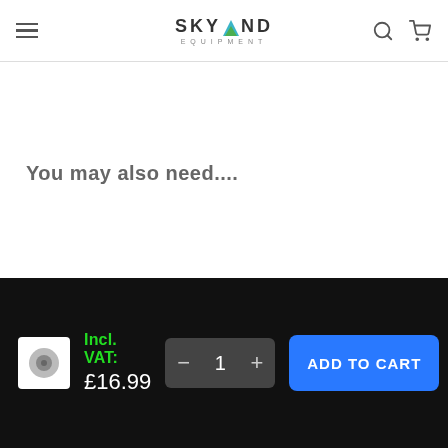Skyland Equipment
You may also need....
Incl. VAT: £16.99